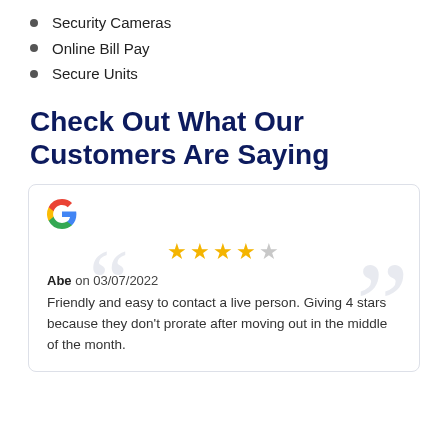Security Cameras
Online Bill Pay
Secure Units
Check Out What Our Customers Are Saying
[Figure (other): Google review card with 4 out of 5 stars, reviewer Abe on 03/07/2022, text: Friendly and easy to contact a live person. Giving 4 stars because they don't prorate after moving out in the middle of the month.]